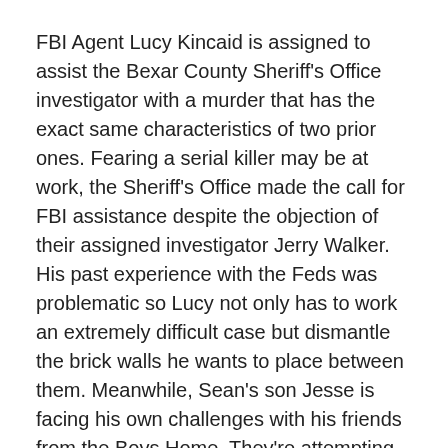FBI Agent Lucy Kincaid is assigned to assist the Bexar County Sheriff's Office investigator with a murder that has the exact same characteristics of two prior ones. Fearing a serial killer may be at work, the Sheriff's Office made the call for FBI assistance despite the objection of their assigned investigator Jerry Walker. His past experience with the Feds was problematic so Lucy not only has to work an extremely difficult case but dismantle the brick walls he wants to place between them. Meanwhile, Sean's son Jesse is facing his own challenges with his friends from the Boys Home. They're attempting to resolve a gang threat on their own to protect one of the residents and they are in over their heads.
It was a nice change of pace to see Lucy doing what she really does best: profiling. Despite her partner's attitude,